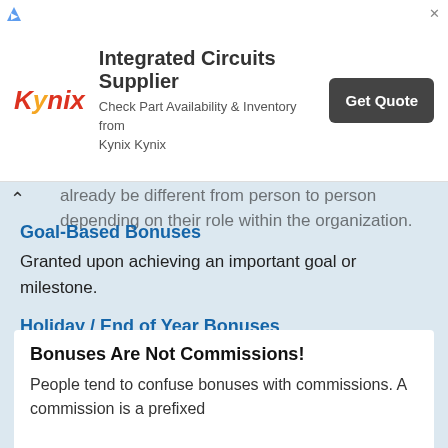[Figure (other): Kynix Integrated Circuits Supplier advertisement banner with logo, tagline, and Get Quote button]
already be different from person to person depending on their role within the organization.
Goal-Based Bonuses
Granted upon achieving an important goal or milestone.
Holiday / End of Year Bonuses
These types of bonuses are given without a reason and usually resemble an appreciation token.
Bonuses Are Not Commissions!
People tend to confuse bonuses with commissions. A commission is a prefixed